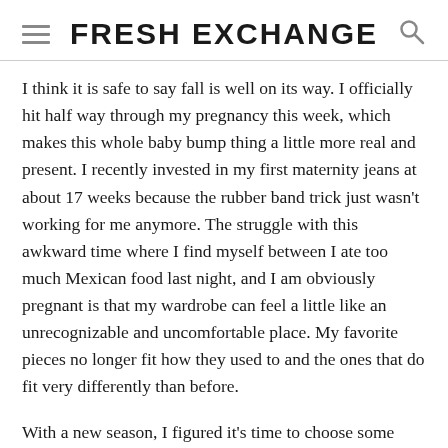FRESH EXCHANGE
I think it is safe to say fall is well on its way. I officially hit half way through my pregnancy this week, which makes this whole baby bump thing a little more real and present. I recently invested in my first maternity jeans at about 17 weeks because the rubber band trick just wasn't working for me anymore. The struggle with this awkward time where I find myself between I ate too much Mexican food last night, and I am obviously pregnant is that my wardrobe can feel a little like an unrecognizable and uncomfortable place. My favorite pieces no longer fit how they used to and the ones that do fit very differently than before.
With a new season, I figured it’s time to choose some new pieces to accommodate going through these changes. Thankfully, the current trends are kind to a woman with a